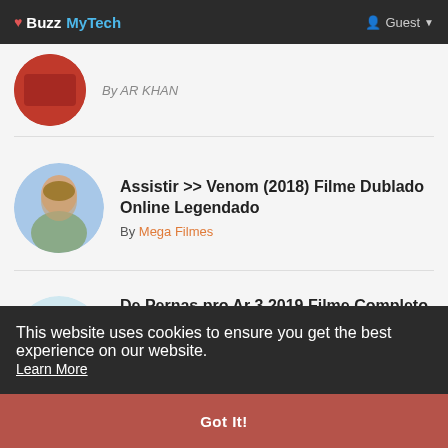♥ Buzz MyTech   Guest
By AR KHAN
Assistir >> Venom (2018) Filme Dublado Online Legendado
By Mega Filmes
De Pernas pro Ar 3 2019 Filme Completo Online Dublado -
This website uses cookies to ensure you get the best experience on our website. Learn More
Got It!